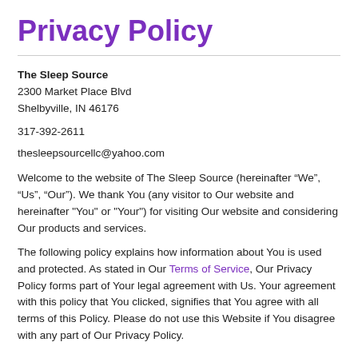Privacy Policy
The Sleep Source
2300 Market Place Blvd
Shelbyville, IN 46176
317-392-2611
thesleepsourcellc@yahoo.com
Welcome to the website of The Sleep Source (hereinafter “We”, “Us”, “Our”). We thank You (any visitor to Our website and hereinafter "You" or "Your") for visiting Our website and considering Our products and services.
The following policy explains how information about You is used and protected. As stated in Our Terms of Service, Our Privacy Policy forms part of Your legal agreement with Us. Your agreement with this policy that You clicked, signifies that You agree with all terms of this Policy. Please do not use this Website if You disagree with any part of Our Privacy Policy.